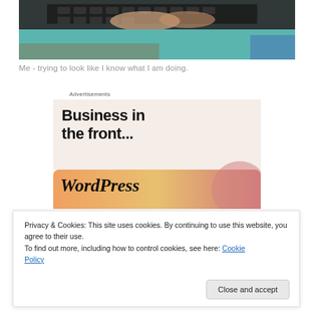[Figure (photo): Photo of a person in a teal/turquoise sweater typing on a keyboard at a desk, cropped to show hands and torso.]
Me - trying to look like I know what I am doing.
[Figure (screenshot): WordPress advertisement: 'Business in the front...' text on a light peach background, with 'WordPress' in italic on an orange-to-pink gradient banner below.]
Privacy & Cookies: This site uses cookies. By continuing to use this website, you agree to their use.
To find out more, including how to control cookies, see here: Cookie Policy